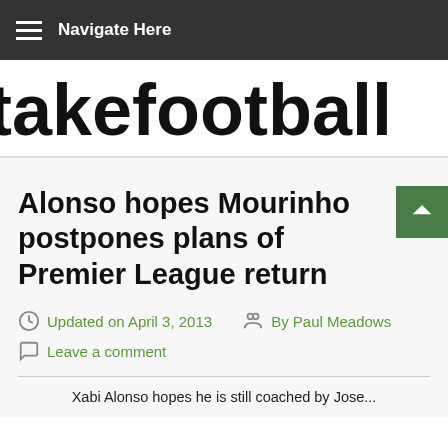Navigate Here
takefootball
Alonso hopes Mourinho postpones plans of Premier League return
Updated on April 3, 2013
By Paul Meadows
Leave a comment
Xabi Alonso hopes he is still coached by Jose...